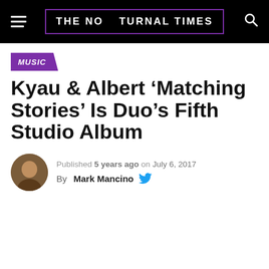THE NOCTURNAL TIMES
MUSIC
Kyau & Albert ‘Matching Stories’ Is Duo’s Fifth Studio Album
Published 5 years ago on July 6, 2017 By Mark Mancino